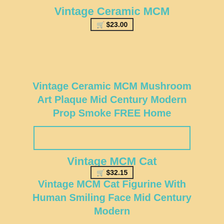Vintage Ceramic MCM
$23.00
Vintage Ceramic MCM Mushroom Art Plaque Mid Century Modern Prop Smoke FREE Home
[Figure (other): Empty teal-bordered rectangle, image placeholder for Vintage MCM Cat product]
Vintage MCM Cat
$32.15
Vintage MCM Cat Figurine With Human Smiling Face Mid Century Modern